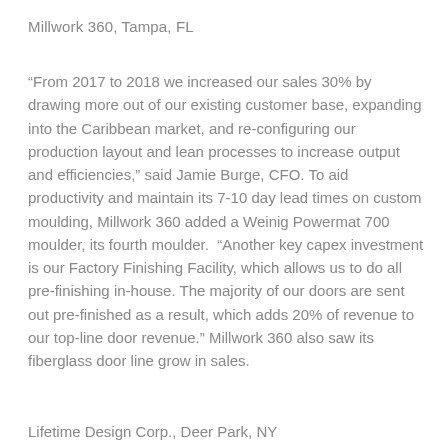Millwork 360, Tampa, FL
“From 2017 to 2018 we increased our sales 30% by drawing more out of our existing customer base, expanding into the Caribbean market, and re-configuring our production layout and lean processes to increase output and efficiencies,” said Jamie Burge, CFO. To aid productivity and maintain its 7-10 day lead times on custom moulding, Millwork 360 added a Weinig Powermat 700 moulder, its fourth moulder. “Another key capex investment is our Factory Finishing Facility, which allows us to do all pre-finishing in-house. The majority of our doors are sent out pre-finished as a result, which adds 20% of revenue to our top-line door revenue.” Millwork 360 also saw its fiberglass door line grow in sales.
Lifetime Design Corp., Deer Park, NY